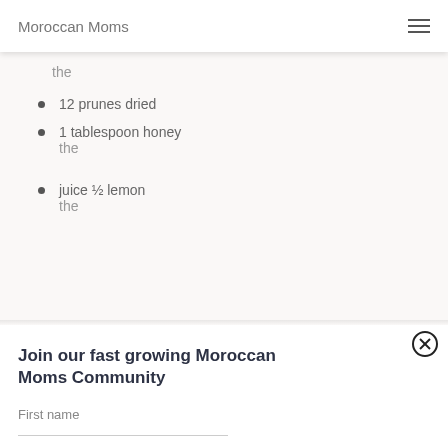Moroccan Moms
the
12 prunes dried
1 tablespoon honey
the
juice ½ lemon
the
Join our fast growing Moroccan Moms Community
First name